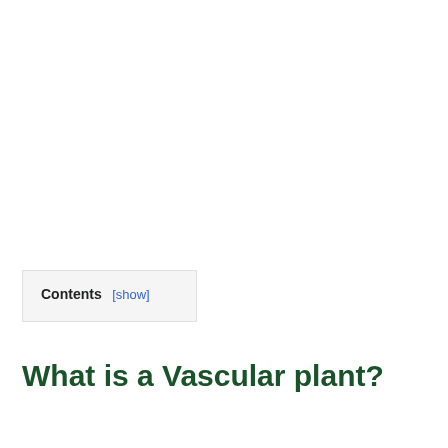Contents [show]
What is a Vascular plant?